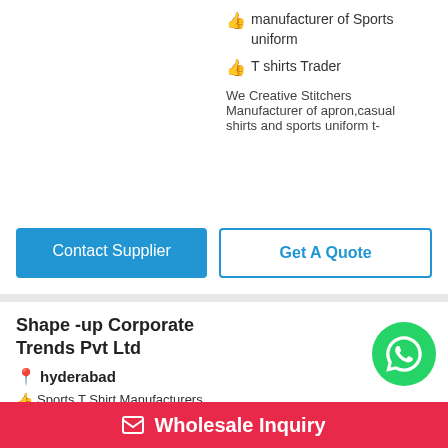manufacturer of Sports uniform
T shirts Trader
We Creative Stitchers Manufacturer of apron,casual shirts and sports uniform t-
Contact Supplier
Get A Quote
Shape -up Corporate Trends Pvt Ltd
hyderabad
Sports T Shirt Manufacturers
Best Sports T Shirt Manufacturers In Hyder
We, Shape -up Corporate
Wholesale Inquiry